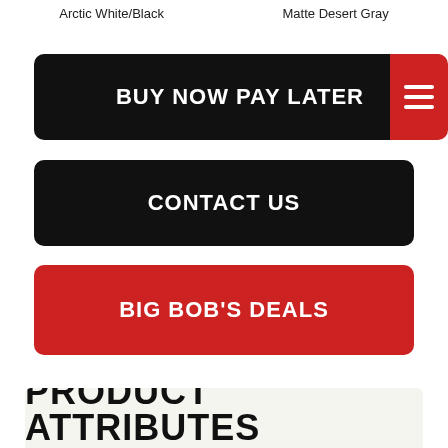Arctic White/Black
Matte Desert Gray
BUY NOW PAY LATER
CONTACT US
BIG BOB'S DEALS
PRODUCT ATTRIBUTES